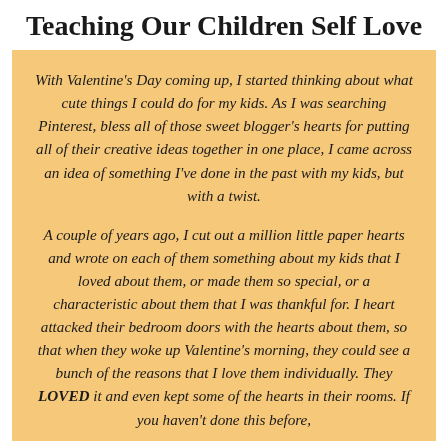Teaching Our Children Self Love
With Valentine's Day coming up, I started thinking about what cute things I could do for my kids. As I was searching Pinterest, bless all of those sweet blogger's hearts for putting all of their creative ideas together in one place, I came across an idea of something I've done in the past with my kids, but with a twist.
A couple of years ago, I cut out a million little paper hearts and wrote on each of them something about my kids that I loved about them, or made them so special, or a characteristic about them that I was thankful for. I heart attacked their bedroom doors with the hearts about them, so that when they woke up Valentine's morning, they could see a bunch of the reasons that I love them individually. They LOVED it and even kept some of the hearts in their rooms. If you haven't done this before,